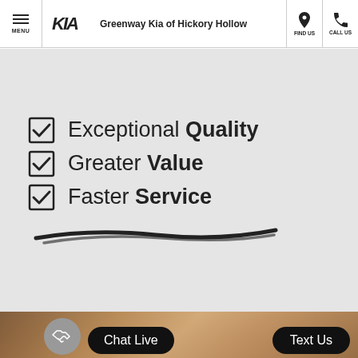MENU | Greenway Kia of Hickory Hollow | FIND US | CALL US
Exceptional Quality
Greater Value
Faster Service
[Figure (photo): People in automotive service center at bottom of page]
Chat Live
Text Us